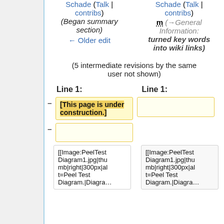Schade (Talk | contribs) (Began summary section) ← Older edit
Schade (Talk | contribs) m (→General Information: turned key words into wiki links)
(5 intermediate revisions by the same user not shown)
Line 1:    Line 1:
[This page is under construction.]
[[Image:PeelTestDiagram1.jpg|thumb|right|300px|alt=Peel Test Diagram.|Diagra...
[[Image:PeelTestDiagram1.jpg|thumb|right|300px|alt=Peel Test Diagram.|Diagra...